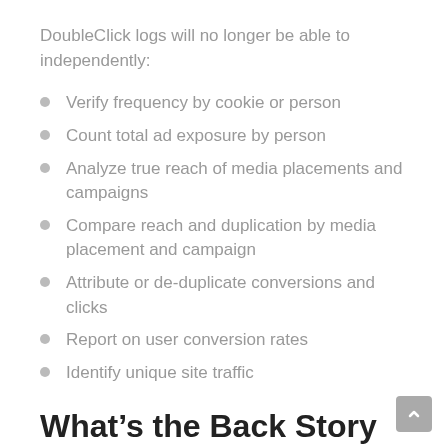DoubleClick logs will no longer be able to independently:
Verify frequency by cookie or person
Count total ad exposure by person
Analyze true reach of media placements and campaigns
Compare reach and duplication by media placement and campaign
Attribute or de-duplicate conversions and clicks
Report on user conversion rates
Identify unique site traffic
What’s the Back Story
This announcement is part of two trends in